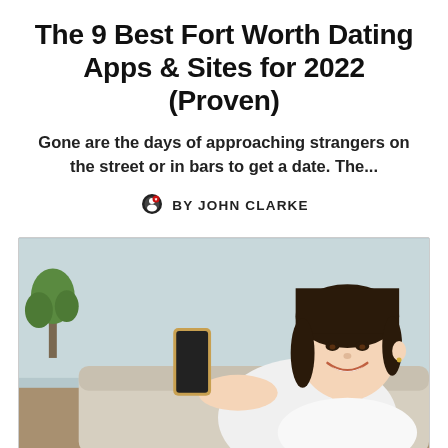The 9 Best Fort Worth Dating Apps & Sites for 2022 (Proven)
Gone are the days of approaching strangers on the street or in bars to get a date. The...
BY JOHN CLARKE
[Figure (photo): A smiling young Asian woman lying on a couch holding a smartphone, looking at the camera. Background shows a blurred indoor setting with a plant.]